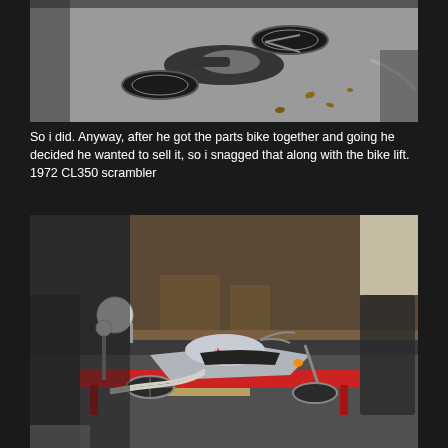[Figure (photo): Overhead view of a motorcycle (parts bike) on a concrete garage floor with leaves scattered around, seen from above.]
So i did. Anyway, after he got the parts bike together and going he decided he wanted to sell it, so i snagged that along with the bike lift. 1972 CL350 scrambler
[Figure (photo): A silver/grey 1972 Honda CL350 scrambler motorcycle on a red bike lift in a garage workshop, with workbenches, tools, and another motorcycle visible in the background.]